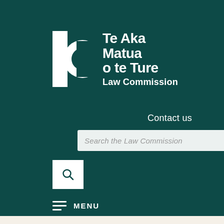[Figure (logo): Law Commission Te Aka Matua o te Ture logo with stylized IC monogram icon and text]
Contact us
Search the Law Commission
[Figure (other): Search magnifying glass button]
MENU
Home » Awaiting Government Response » Civil » Courts and Dispute Resolution » Criminal » Evidence » Public » Property/Trusts
» Our projects